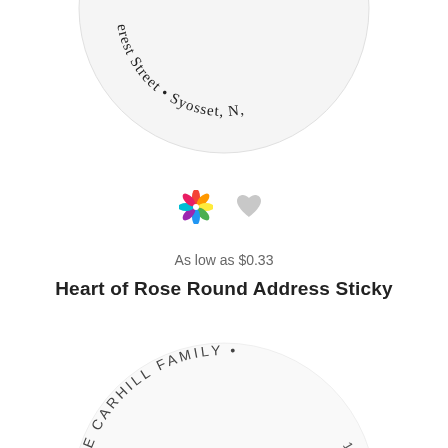[Figure (illustration): Round address sticker with a pink heart at top center and curved text reading 'Everest Street • Syosset, N,' along the bottom arc of the circle]
[Figure (illustration): Colorful pinwheel/flower icon (multicolor) and a gray heart icon side by side]
As low as $0.33
Heart of Rose Round Address Sticky
[Figure (illustration): Round address sticker showing 'THE CARHILL FAMILY' curved along top arc, a pink cursive letter 'C' monogram in center, and '7212 •' on left arc and '1854 Fr' on right arc]